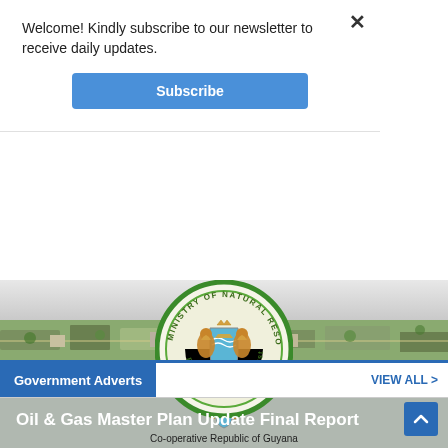Welcome! Kindly subscribe to our newsletter to receive daily updates.
Subscribe
[Figure (logo): Ministry of Natural Resources circular seal/logo with Guyana coat of arms and text 'Explore • Develop • Sustain']
Oil & Gas Master Plan Update Final Report
[Figure (photo): Aerial photograph of a town/city with buildings and trees]
Government Adverts
VIEW ALL >
[Figure (logo): Co-operative Republic of Guyana coat of arms/crest]
Co-operative Republic of Guyana